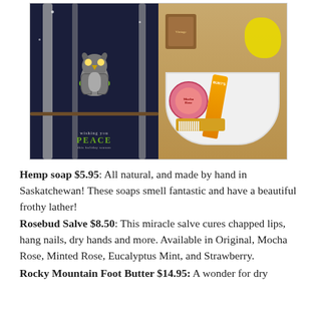[Figure (photo): Two-panel photo: left panel shows a greeting card with an owl wearing a green scarf on a snowy dark blue background with text 'wishing you PEACE this holiday season'; right panel shows a white bowl containing beauty/spa products including Rosebud Salve tin, Burt's Bees lotion, a scrub brush, and a yellow sponge.]
Hemp soap $5.95: All natural, and made by hand in Saskatchewan! These soaps smell fantastic and have a beautiful frothy lather! Rosebud Salve $8.50: This miracle salve cures chapped lips, hang nails, dry hands and more. Available in Original, Mocha Rose, Minted Rose, Eucalyptus Mint, and Strawberry. Rocky Mountain Foot Butter $14.95: A wonder for dry feet and all the cracking that comes along...